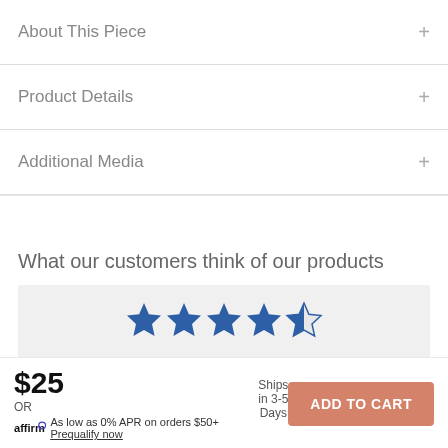About This Piece
Product Details
Additional Media
What our customers think of our products
[Figure (other): 4 filled blue stars and 1 half blue star (4.5 star rating display)]
$25  Ships in 3-5 Days  ADD TO CART  OR  affirm As low as 0% APR on orders $50+  Prequalify now